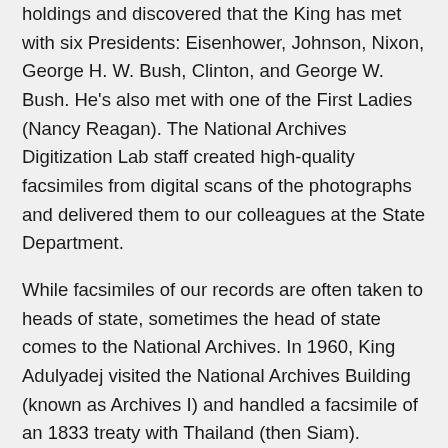holdings and discovered that the King has met with six Presidents: Eisenhower, Johnson, Nixon, George H. W. Bush, Clinton, and George W. Bush. He's also met with one of the First Ladies (Nancy Reagan). The National Archives Digitization Lab staff created high-quality facsimiles from digital scans of the photographs and delivered them to our colleagues at the State Department.
While facsimiles of our records are often taken to heads of state, sometimes the head of state comes to the National Archives. In 1960, King Adulyadej visited the National Archives Building (known as Archives I) and handled a facsimile of an 1833 treaty with Thailand (then Siam).